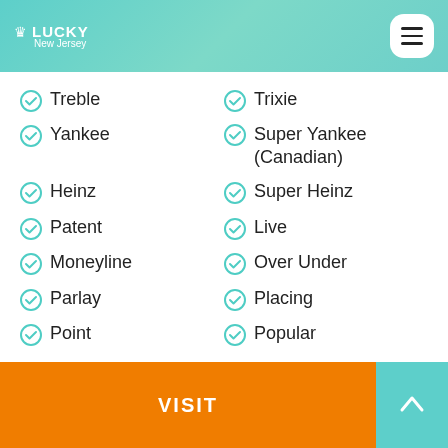LUCKY New Jersey
Treble
Trixie
Yankee
Super Yankee (Canadian)
Heinz
Super Heinz
Patent
Live
Moneyline
Over Under
Parlay
Placing
Point
Popular
VISIT